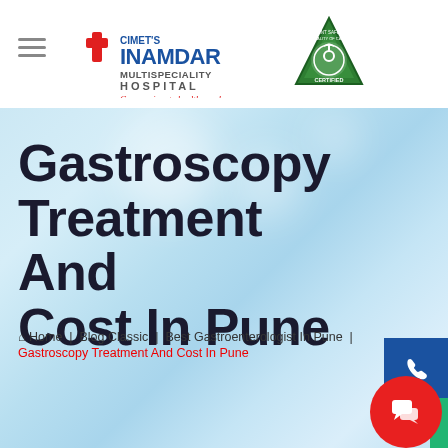[Figure (logo): CIMET's Inamdar Multispeciality Hospital logo with red cross and tagline 'Compassionate health care!' alongside a green triangular quality certification badge]
Gastroscopy Treatment And Cost In Pune
Home | Blog Classic | Best Gastroenterologist In Pune | Gastroscopy Treatment And Cost In Pune